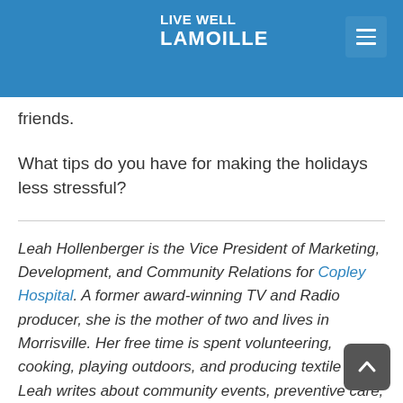LIVE WELL LAMOILLE
meaningful time with family and friends.
What tips do you have for making the holidays less stressful?
Leah Hollenberger is the Vice President of Marketing, Development, and Community Relations for Copley Hospital. A former award-winning TV and Radio producer, she is the mother of two and lives in Morrisville. Her free time is spent volunteering, cooking, playing outdoors, and producing textile arts. Leah writes about community events, preventive care, and assorted